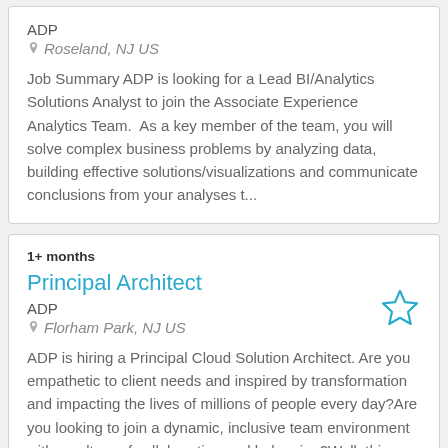ADP
Roseland, NJ US
Job Summary ADP is looking for a Lead BI/Analytics Solutions Analyst to join the Associate Experience Analytics Team.  As a key member of the team, you will solve complex business problems by analyzing data, building effective solutions/visualizations and communicate conclusions from your analyses t...
1+ months
Principal Architect
ADP
Florham Park, NJ US
ADP is hiring a Principal Cloud Solution Architect. Are you empathetic to client needs and inspired by transformation and impacting the lives of millions of people every day?Are you looking to join a dynamic, inclusive team environment with a culture of collaboration and belonging?Well, this may be ...